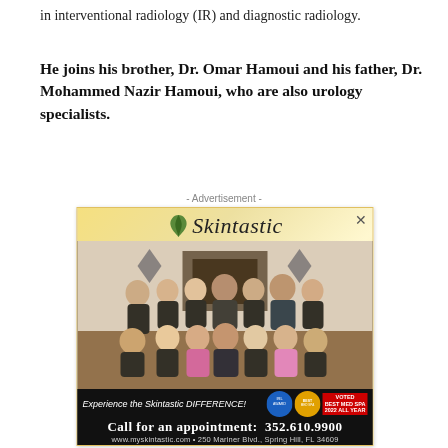in interventional radiology (IR) and diagnostic radiology.
He joins his brother, Dr. Omar Hamoui and his father, Dr. Mohammed Nazir Hamoui, who are also urology specialists.
- Advertisement -
[Figure (photo): Skintastic med spa advertisement showing a group photo of staff in black uniforms with logo, tagline 'Experience the Skintastic DIFFERENCE!', phone number 352.610.9900, website www.myskintastic.com, address 250 Mariner Blvd., Spring Hill, FL 34609, and 'Voted Best Med Spa' badge.]